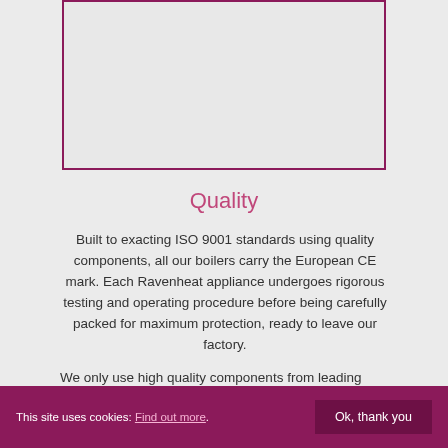[Figure (other): Empty bordered box with dark pink/maroon border, appearing to be a placeholder for an image]
Quality
Built to exacting ISO 9001 standards using quality components, all our boilers carry the European CE mark. Each Ravenheat appliance undergoes rigorous testing and operating procedure before being carefully packed for maximum protection, ready to leave our factory.
We only use high quality components from leading industry
This site uses cookies: Find out more. Ok, thank you